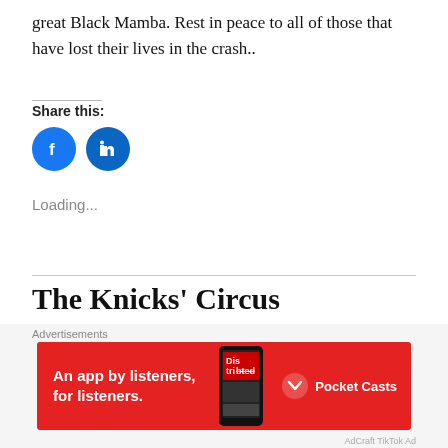great Black Mamba. Rest in peace to all of those that have lost their lives in the crash..
Share this:
[Figure (other): Social share buttons: Facebook (blue circle with f icon) and LinkedIn (blue circle with in icon)]
Loading...
The Knicks’ Circus Continues
Advertisements
[Figure (other): Pocket Casts advertisement banner: red background with text 'An app by listeners, for listeners.' and Pocket Casts logo]